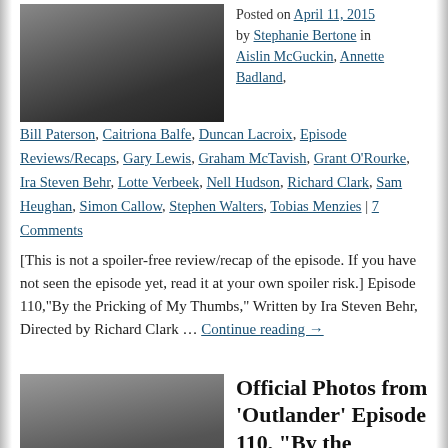[Figure (photo): Dark scene with figures in period costume, candelabras visible]
Posted on April 11, 2015 by Stephanie Bertone in Aislin McGuckin, Annette Badland, Bill Paterson, Caitriona Balfe, Duncan Lacroix, Episode Reviews/Recaps, Gary Lewis, Graham McTavish, Grant O'Rourke, Ira Steven Behr, Lotte Verbeek, Nell Hudson, Richard Clark, Sam Heughan, Simon Callow, Stephen Walters, Tobias Menzies | 7 Comments
[This is not a spoiler-free review/recap of the episode. If you have not seen the episode yet, read it at your own spoiler risk.] Episode 110,“By the Pricking of My Thumbs,” Written by Ira Steven Behr, Directed by Richard Clark … Continue reading →
[Figure (photo): Two women in period costume standing outdoors against stone wall]
Official Photos from ‘Outlander’ Episode 110, “By the Pricking of My Thumbs”
Posted on April 9, 2015